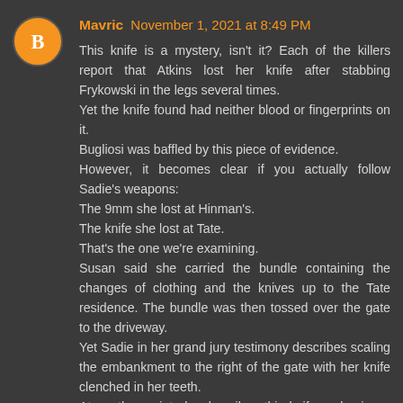[Figure (other): Orange circular avatar with white blogger 'B' icon]
Mavric November 1, 2021 at 8:49 PM
This knife is a mystery, isn't it? Each of the killers report that Atkins lost her knife after stabbing Frykowski in the legs several times.
Yet the knife found had neither blood or fingerprints on it.
Bugliosi was baffled by this piece of evidence.
However, it becomes clear if you actually follow Sadie's weapons:
The 9mm she lost at Hinman's.
The knife she lost at Tate.
That's the one we're examining.
Susan said she carried the bundle containing the changes of clothing and the knives up to the Tate residence. The bundle was then tossed over the gate to the driveway.
Yet Sadie in her grand jury testimony describes scaling the embankment to the right of the gate with her knife clenched in her teeth.
At another point she describes this knife as having a broken handle repaired with tape.